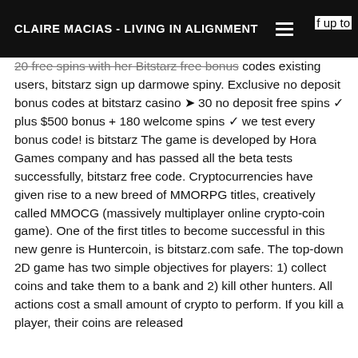CLAIRE MACIAS - LIVING IN ALIGNMENT
f up to 20 free spins with her Bitstarz free bonus codes existing users, bitstarz sign up darmowe spiny. Exclusive no deposit bonus codes at bitstarz casino ➤ 30 no deposit free spins ✓ plus $500 bonus + 180 welcome spins ✓ we test every bonus code! is bitstarz The game is developed by Hora Games company and has passed all the beta tests successfully, bitstarz free code. Cryptocurrencies have given rise to a new breed of MMORPG titles, creatively called MMOCG (massively multiplayer online crypto-coin game). One of the first titles to become successful in this new genre is Huntercoin, is bitstarz.com safe. The top-down 2D game has two simple objectives for players: 1) collect coins and take them to a bank and 2) kill other hunters. All actions cost a small amount of crypto to perform. If you kill a player, their coins are released